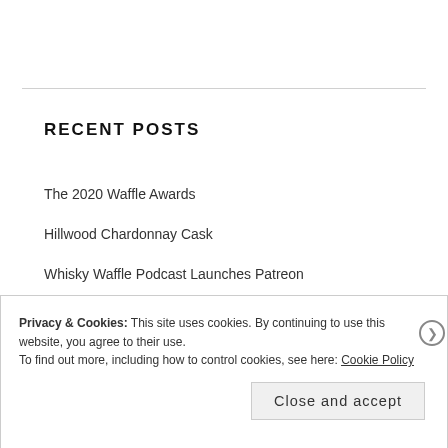RECENT POSTS
The 2020 Waffle Awards
Hillwood Chardonnay Cask
Whisky Waffle Podcast Launches Patreon
McHenry Distillery: a sense of place
Privacy & Cookies: This site uses cookies. By continuing to use this website, you agree to their use.
To find out more, including how to control cookies, see here: Cookie Policy
Close and accept